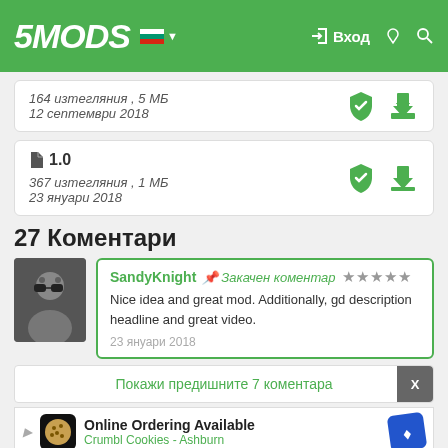5MODS — Вход
164 изтегляния , 5 МБ
12 септември 2018
1.0
367 изтегляния , 1 МБ
23 януари 2018
27 Коментари
SandyKnight  📌 Закачен коментар ★★★★★
Nice idea and great mod. Additionally, gd description headline and great video.
23 януари 2018
Покажи предишните 7 коментара
Online Ordering Available
Crumbl Cookies - Ashburn